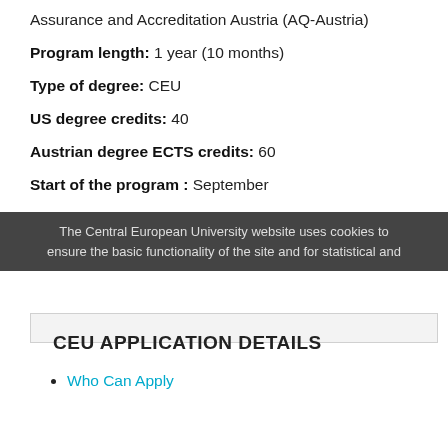Assurance and Accreditation Austria (AQ-Austria)
Program length: 1 year (10 months)
Type of degree: CEU
US degree credits: 40
Austrian degree ECTS credits: 60
Start of the program : September
Director: Alexander Astrov
Program administrator: Zlata Kharitonova
CEU APPLICATION DETAILS
Who Can Apply
The Central European University website uses cookies to ensure the basic functionality of the site and for statistical and